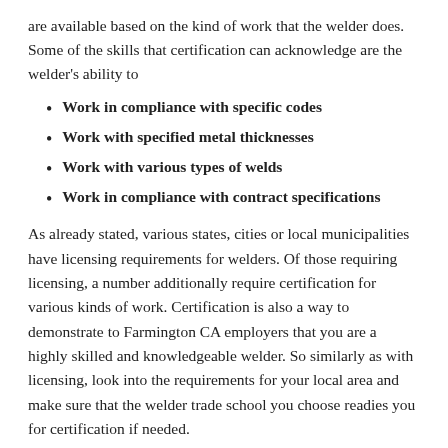are available based on the kind of work that the welder does. Some of the skills that certification can acknowledge are the welder's ability to
Work in compliance with specific codes
Work with specified metal thicknesses
Work with various types of welds
Work in compliance with contract specifications
As already stated, various states, cities or local municipalities have licensing requirements for welders. Of those requiring licensing, a number additionally require certification for various kinds of work. Certification is also a way to demonstrate to Farmington CA employers that you are a highly skilled and knowledgeable welder. So similarly as with licensing, look into the requirements for your local area and make sure that the welder trade school you choose readies you for certification if needed.